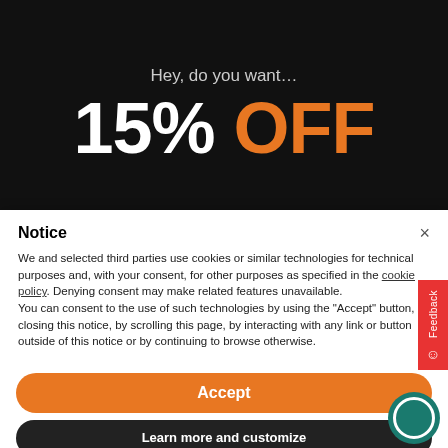Hey, do you want…
15% OFF
Notice
We and selected third parties use cookies or similar technologies for technical purposes and, with your consent, for other purposes as specified in the cookie policy. Denying consent may make related features unavailable.
You can consent to the use of such technologies by using the "Accept" button, by closing this notice, by scrolling this page, by interacting with any link or button outside of this notice or by continuing to browse otherwise.
Accept
Learn more and customize